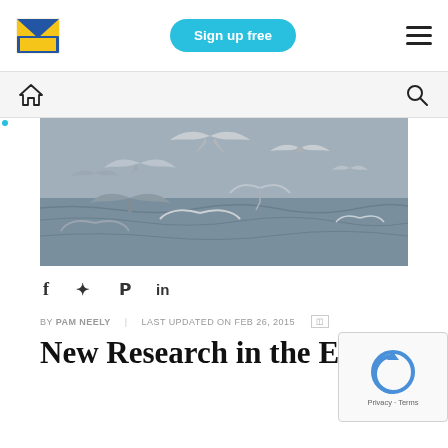Sign up free | [logo] | [menu]
[Figure (photo): Seagulls flying and diving over ocean water, grey overcast sky background]
f  ✦  𝗣  in
BY PAM NEELY   LAST UPDATED ON FEB 26, 2015
New Research in the Epic